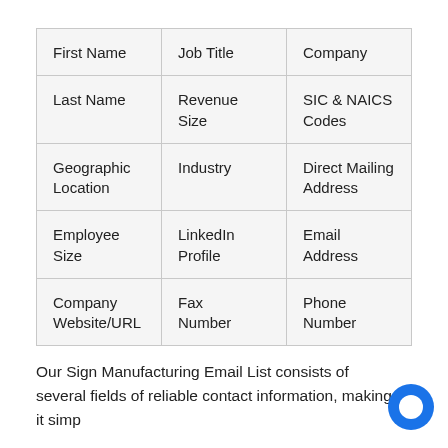| First Name | Job Title | Company |
| Last Name | Revenue Size | SIC & NAICS Codes |
| Geographic Location | Industry | Direct Mailing Address |
| Employee Size | LinkedIn Profile | Email Address |
| Company Website/URL | Fax Number | Phone Number |
Our Sign Manufacturing Email List consists of several fields of reliable contact information, making it simp...